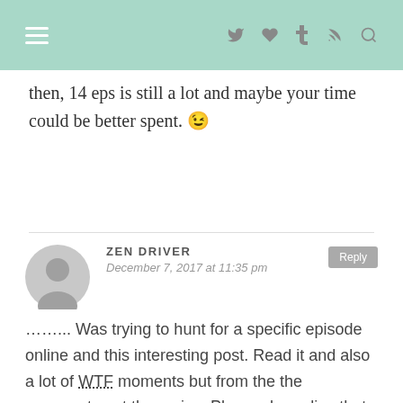Navigation bar with hamburger menu and social icons (Twitter, heart, Tumblr, RSS, search)
then, 14 eps is still a lot and maybe your time could be better spent. 😉
ZEN DRIVER
December 7, 2017 at 11:35 pm
……... Was trying to hunt for a specific episode online and this interesting post. Read it and also a lot of WTF moments but from the the comments not the series. Please do realise that this is a classic novel. Just like Romeo and Juliet. People don't watch a Shakespear tragedy Romeo and